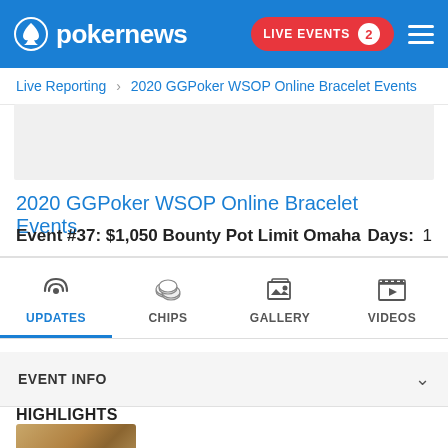pokernews — LIVE EVENTS 2
Live Reporting > 2020 GGPoker WSOP Online Bracelet Events
[Figure (other): Advertisement placeholder gray box]
2020 GGPoker WSOP Online Bracelet Events
Event #37: $1,050 Bounty Pot Limit Omaha    Days: 1
[Figure (infographic): Navigation tabs: UPDATES (active, with radio signal icon), CHIPS (with poker chips icon), GALLERY (with image icon), VIDEOS (with video play icon)]
EVENT INFO
HIGHLIGHTS
[Figure (photo): Thumbnail image with brownish/golden tones, partially visible at bottom of page]